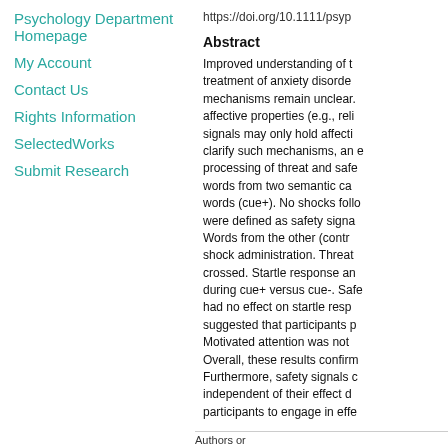Psychology Department Homepage
My Account
Contact Us
Rights Information
SelectedWorks
Submit Research
https://doi.org/10.1111/psyp
Abstract
Improved understanding of the treatment of anxiety disorders, mechanisms remain unclear. affective properties (e.g., reli signals may only hold affecti clarify such mechanisms, an e processing of threat and safe words from two semantic ca words (cue+). No shocks follo were defined as safety signa Words from the other (contr shock administration. Threat crossed. Startle response an during cue+ versus cue-. Safe had no effect on startle resp suggested that participants p Motivated attention was not Overall, these results confirm Furthermore, safety signals c independent of their effect d participants to engage in effe
Authors or